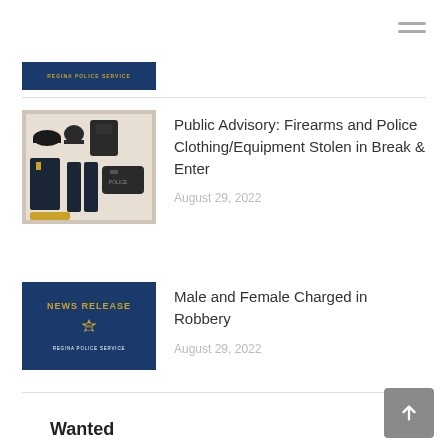[Figure (screenshot): Partial news listing card with Regina Police Service dark blue thumbnail, cropped at top of page]
[Figure (photo): Photo of police clothing and equipment items laid out on a table including uniform, hat, vest, and accessories]
Public Advisory: Firearms and Police Clothing/Equipment Stolen in Break & Enter
August 29, 2022
[Figure (logo): Regina Police Service NEWS RELEASE dark blue card with gold badge logo]
Male and Female Charged in Robbery
August 29, 2022
Wanted